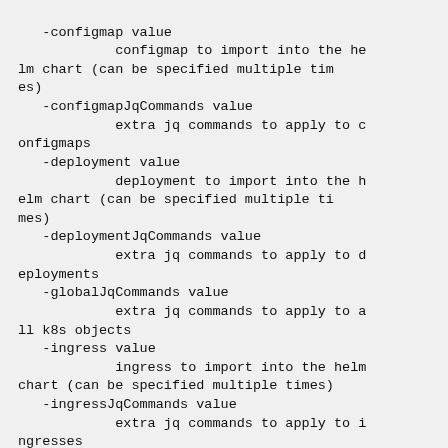-configmap value
            configmap to import into the helm chart (can be specified multiple times)
   -configmapJqCommands value
            extra jq commands to apply to configmaps
   -deployment value
            deployment to import into the helm chart (can be specified multiple times)
   -deploymentJqCommands value
            extra jq commands to apply to deployments
   -globalJqCommands value
            extra jq commands to apply to all k8s objects
   -ingress value
            ingress to import into the helm chart (can be specified multiple times)
   -ingressJqCommands value
            extra jq commands to apply to ingresses